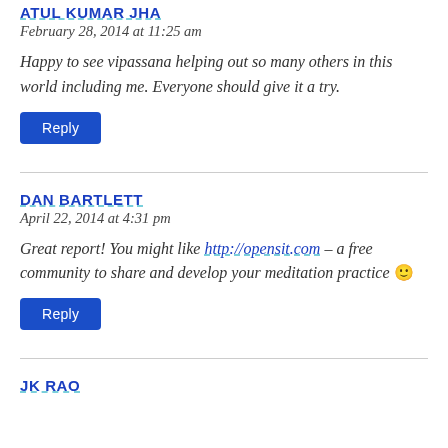ATUL KUMAR JHA
February 28, 2014 at 11:25 am
Happy to see vipassana helping out so many others in this world including me. Everyone should give it a try.
Reply
DAN BARTLETT
April 22, 2014 at 4:31 pm
Great report! You might like http://opensit.com – a free community to share and develop your meditation practice 🙂
Reply
JK RAO